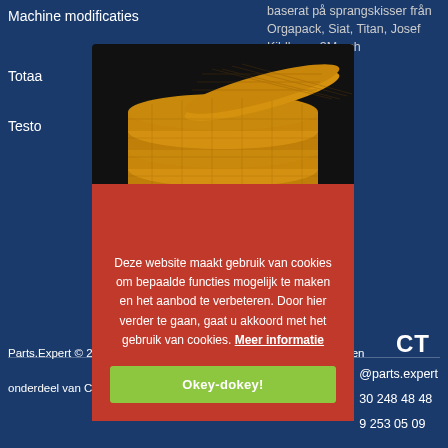Machine modificaties
baserat på sprangskisser från Orgapack, Siat, Titan, Josef Kihlberg, 3M och
Totaa
Testo
[Figure (photo): Stack of stroopwafels (Dutch caramel waffers) on a dark background, shown above a red cookie notice modal dialog.]
Deze website maakt gebruik van cookies om bepaalde functies mogelijk te maken en het aanbod te verbeteren. Door hier verder te gaan, gaat u akkoord met het gebruik van cookies. Meer informatie
CT
@parts.expert
30 248 48 48
9 253 05 09
Parts.Expert © 2022 | Alle rechten voorbehouden | Parts.Expert is een onderdeel van Contimeta